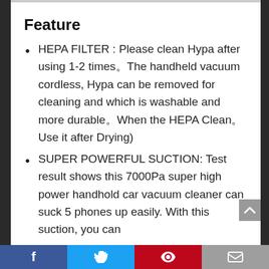Feature
HEPA FILTER : Please clean Hypa after using 1-2 times。The handheld vacuum cordless, Hypa can be removed for cleaning and which is washable and more durable。When the HEPA Clean。Use it after Drying)
SUPER POWERFUL SUCTION: Test result shows this 7000Pa super high power handhold car vacuum cleaner can suck 5 phones up easily. With this suction, you can